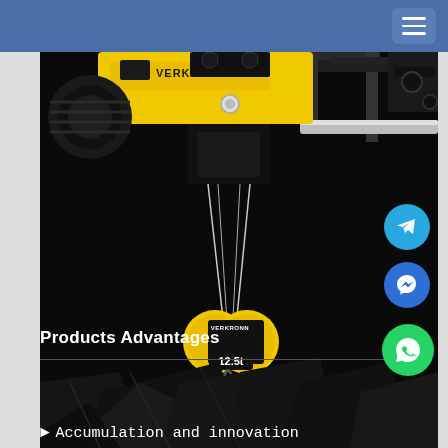[Figure (screenshot): Facebook page header bar with hamburger menu button in top right corner, steel blue/purple background]
[Figure (photo): Industrial crane hoist by VERKRONN brand, yellow and black colored electric wire rope hoist with 12.5t capacity hook block, mounted on rail beam, dark/black background. Shows VERKRONN branding on yellow hook block. Below the crane hardware there are dark silhouettes of structural elements.]
Products Advantages
Accumulation and innovation